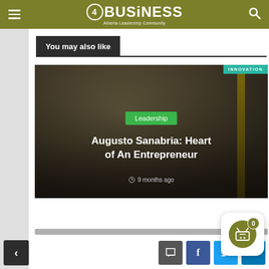4BUSiNESS — Alberta Leadership Community
You may also like
[Figure (photo): Article card featuring a man in a suit with red tie standing in a corridor. Green 'Leadership' badge overlaid. Title: 'Augusto Sanabria: Heart of An Entrepreneur'. Time label: '9 months ago'. Top-right 'INNOVATION' teal tag.]
Leadership
Augusto Sanabria: Heart of An Entrepreneur
9 months ago